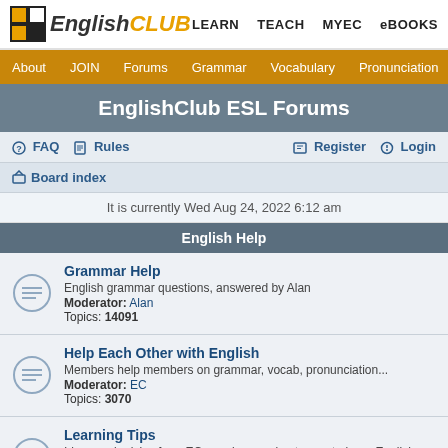EnglishCLUB — LEARN  TEACH  MYEC  eBOOKS
About  JOIN  Forums  Grammar  Vocabulary  Pronunciation  Listening
EnglishClub ESL Forums
FAQ  Rules  Register  Login
Board index
It is currently Wed Aug 24, 2022 6:12 am
English Help
Grammar Help
English grammar questions, answered by Alan
Moderator: Alan
Topics: 14091
Help Each Other with English
Members help members on grammar, vocab, pronunciation...
Moderator: EC
Topics: 3070
Learning Tips
Ideas and advice from EC members on best ways to learn English
Moderator: EC
Topics: 39